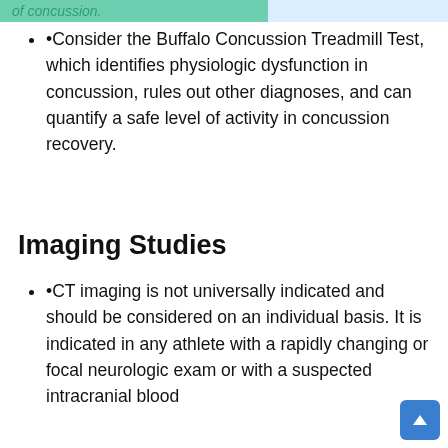•Consider the Buffalo Concussion Treadmill Test, which identifies physiologic dysfunction in concussion, rules out other diagnoses, and can quantify a safe level of activity in concussion recovery.
Imaging Studies
•CT imaging is not universally indicated and should be considered on an individual basis. It is indicated in any athlete with a rapidly changing or focal neurologic exam or with a suspected intracranial blood